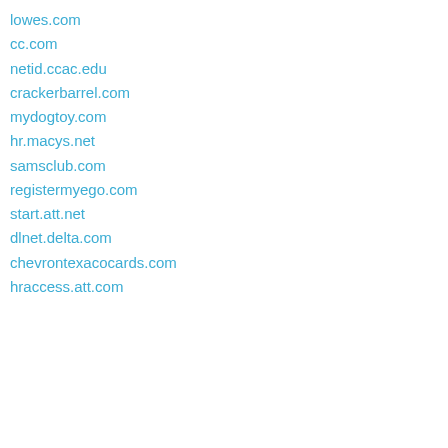lowes.com
cc.com
netid.ccac.edu
crackerbarrel.com
mydogtoy.com
hr.macys.net
samsclub.com
registermyego.com
start.att.net
dlnet.delta.com
chevrontexacocards.com
hraccess.att.com